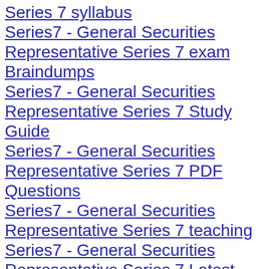Series 7 syllabus
Series7 - General Securities Representative Series 7 exam Braindumps
Series7 - General Securities Representative Series 7 Study Guide
Series7 - General Securities Representative Series 7 PDF Questions
Series7 - General Securities Representative Series 7 teaching
Series7 - General Securities Representative Series 7 Latest Topics
Series7 - General Securities Representative Series 7 book
Series7 - General Securities Representative Series 7 study help
Series7 - General Securities Representative Series 7 learn